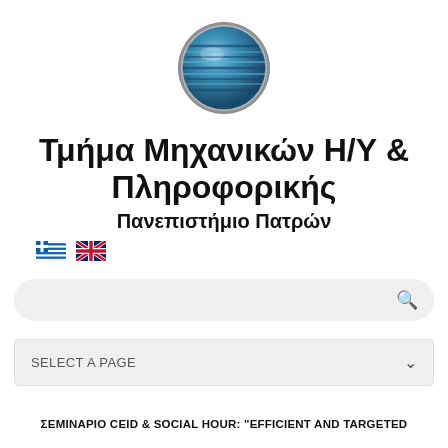[Figure (logo): Circular globe-like logo with blue and teal horizontal stripes and metallic rim, representing the University of Patras department]
Τμήμα Μηχανικών Η/Υ & Πληροφορικής
Πανεπιστήμιο Πατρών
[Figure (illustration): Greek flag and UK flag icons side by side for language selection]
SELECT A PAGE
ΣΕΜΙΝΑΡΙΟ CEID & SOCIAL HOUR: "EFFICIENT AND TARGETED